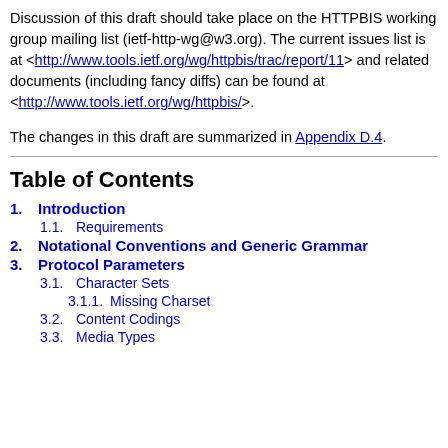Discussion of this draft should take place on the HTTPBIS working group mailing list (ietf-http-wg@w3.org). The current issues list is at <http://www.tools.ietf.org/wg/httpbis/trac/report/11> and related documents (including fancy diffs) can be found at <http://www.tools.ietf.org/wg/httpbis/>.
The changes in this draft are summarized in Appendix D.4.
Table of Contents
1.  Introduction
1.1.  Requirements
2.  Notational Conventions and Generic Grammar
3.  Protocol Parameters
3.1.  Character Sets
3.1.1.  Missing Charset
3.2.  Content Codings
3.3.  Media Types